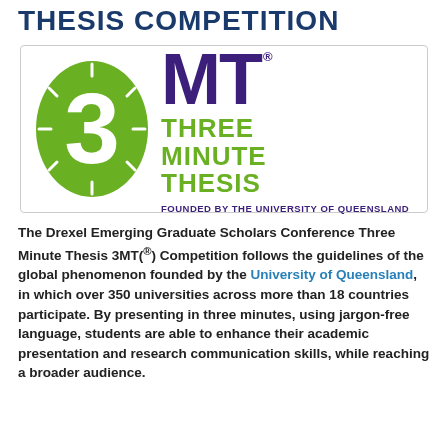THESIS COMPETITION
[Figure (logo): 3MT Three Minute Thesis logo — green oval with white '3' and clock tick marks, purple 'MT' with registered trademark, green 'THREE MINUTE THESIS' text, purple 'FOUNDED BY THE UNIVERSITY OF QUEENSLAND']
The Drexel Emerging Graduate Scholars Conference Three Minute Thesis 3MT(®) Competition follows the guidelines of the global phenomenon founded by the University of Queensland, in which over 350 universities across more than 18 countries participate. By presenting in three minutes, using jargon-free language, students are able to enhance their academic presentation and research communication skills, while reaching a broader audience.